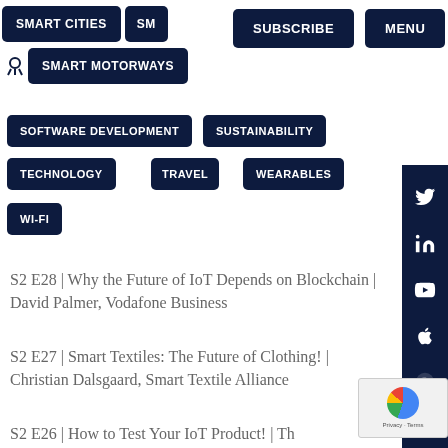SMART CITIES | SM... | SUBSCRIBE | MENU | SMART MOTORWAYS
SOFTWARE DEVELOPMENT
SUSTAINABILITY
TECHNOLOGY
TRAVEL
WEARABLES
WI-FI
S2 E28 | Why the Future of IoT Depends on Blockchain | David Palmer, Vodafone Business
S2 E27 | Smart Textiles: The Future of Clothing! | Christian Dalsgaard, Smart Textile Alliance
S2 E26 | How to Test Your IoT Product! | Th...